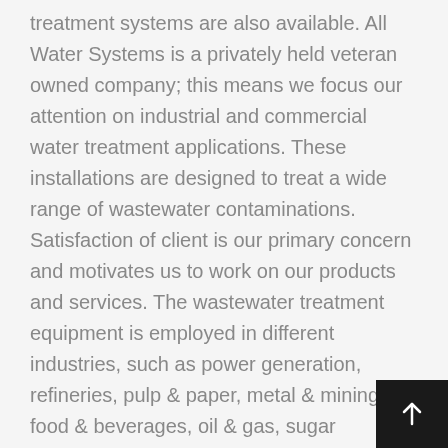treatment systems are also available. All Water Systems is a privately held veteran owned company; this means we focus our attention on industrial and commercial water treatment applications. These installations are designed to treat a wide range of wastewater contaminations. Satisfaction of client is our primary concern and motivates us to work on our products and services. The wastewater treatment equipment is employed in different industries, such as power generation, refineries, pulp & paper, metal & mining, food & beverages, oil & gas, sugar including others. We, at Austro Water Tech do not just producing or promoting a technology developed by ourselves.Through our expertise and extensive network we have developed and created access to many innovative and the most suitable technical solutions.